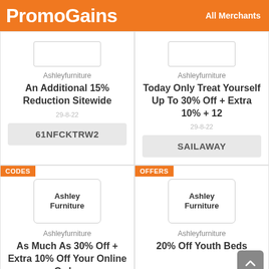PromoGains   All Merchants
Ashleyfurniture
An Additional 15% Reduction Sitewide
29-8-22
61NFCKTRW2
Ashleyfurniture
Today Only Treat Yourself Up To 30% Off + Extra 10% + 12
29-8-22
SAILAWAY
CODES
OFFERS
Ashleyfurniture
As Much As 30% Off + Extra 10% Off Your Online Order
Ashleyfurniture
20% Off Youth Beds